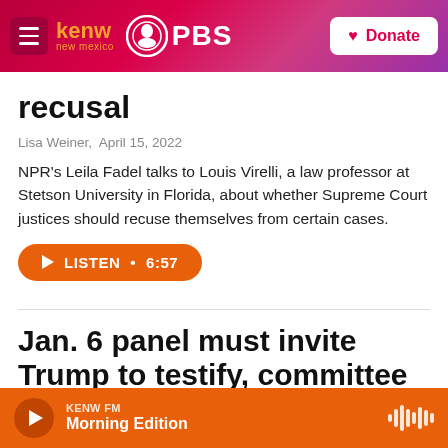KENW New Mexico PBS — Donate
recusal
Lisa Weiner,  April 15, 2022
NPR's Leila Fadel talks to Louis Virelli, a law professor at Stetson University in Florida, about whether Supreme Court justices should recuse themselves from certain cases.
LISTEN • 6:57
Jan. 6 panel must invite Trump to testify, committee member Rep. Lofgren says
KENW FM — Morning Edition